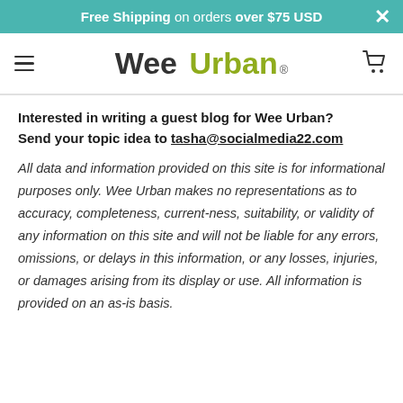Free Shipping on orders over $75 USD
Wee Urban®
Interested in writing a guest blog for Wee Urban? Send your topic idea to tasha@socialmedia22.com
All data and information provided on this site is for informational purposes only. Wee Urban makes no representations as to accuracy, completeness, currentness, suitability, or validity of any information on this site and will not be liable for any errors, omissions, or delays in this information, or any losses, injuries, or damages arising from its display or use. All information is provided on an as-is basis.